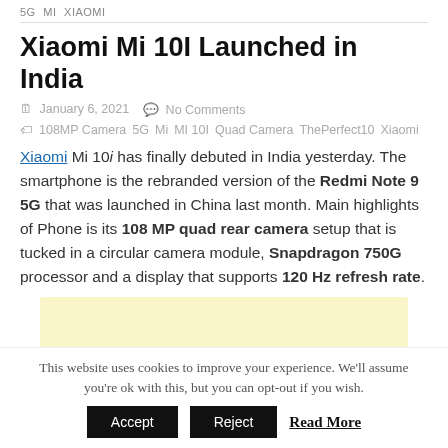5G  MI  XIAOMI
Xiaomi Mi 10I Launched in India
January 6, 2021   No Comments
108MP Camera  5G  Mi  MI 10I  Quad Camera  ThePerfect10  Xiaomi
Xiaomi Mi 10i has finally debuted in India yesterday. The smartphone is the rebranded version of the Redmi Note 9 5G that was launched in China last month. Main highlights of Phone is its 108 MP quad rear camera setup that is tucked in a circular camera module, Snapdragon 750G processor and a display that supports 120 Hz refresh rate.
[Figure (other): Advertisement banner with light yellow background]
This website uses cookies to improve your experience. We'll assume you're ok with this, but you can opt-out if you wish.